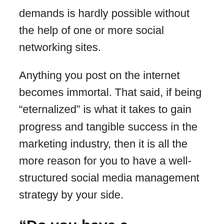demands is hardly possible without the help of one or more social networking sites.
Anything you post on the internet becomes immortal. That said, if being “eternalized” is what it takes to gain progress and tangible success in the marketing industry, then it is all the more reason for you to have a well-structured social media management strategy by your side.
“Do you have a Facebook, Twitter, or Instagram page?”
Admit it, you’ve probably been asked this question